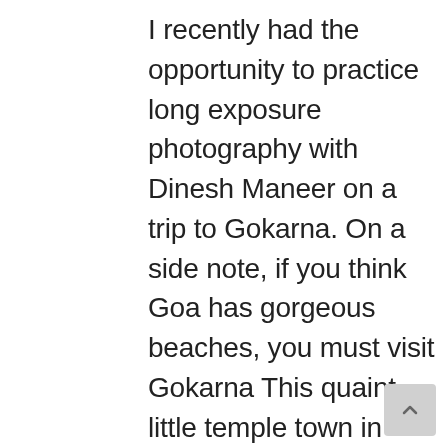I recently had the opportunity to practice long exposure photography with Dinesh Maneer on a trip to Gokarna. On a side note, if you think Goa has gorgeous beaches, you must visit Gokarna This quaint little temple town in Karnataka located just about 40 km south of Karwar has some of the most beautiful beaches in India. They come all shapes and sizes with interesting names like Om Beach, Honey Beach, Half Moon beach, Paradise beach and so on. Unique to the landscape here are the large rock-like formations which made for many exciting compositions. The beaches aren't very crowded, have just a sprinkling of restaurants a fair share of tourists. Methinks the ones that find Goa